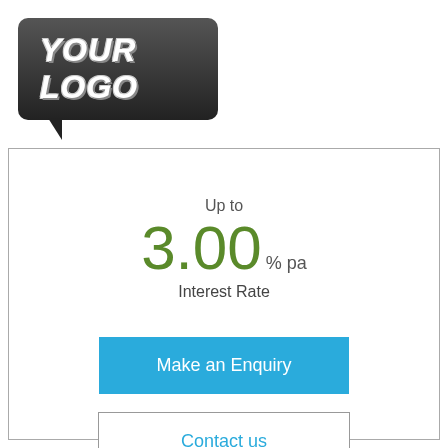[Figure (logo): Speech bubble logo placeholder with text 'YOUR LOGO' in italic bold white font on dark gradient background]
Up to
3.00% pa
Interest Rate
Make an Enquiry
Contact us